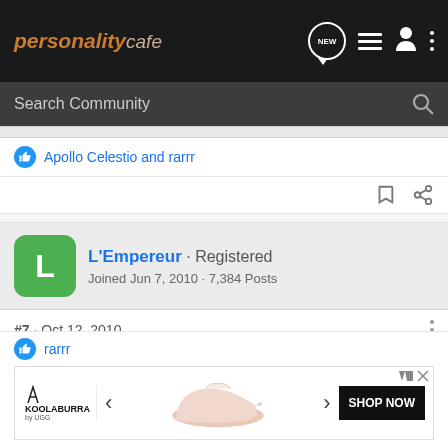personality cafe — NEW ≡ 👤 ⋮
Search Community
Apollo Celestio and rarrr
L'Empereur · Registered
Joined Jun 7, 2010 · 7,384 Posts
#7 · Oct 12, 2010
Books, games, food, art, clothes
rarrr
[Figure (screenshot): Koolaburra shoe advertisement banner with SHOP NOW button]